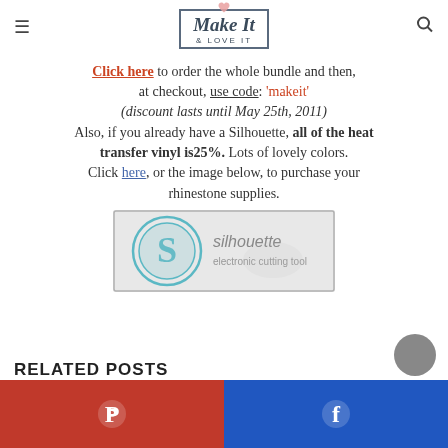Make It & LOVE IT
Click here to order the whole bundle and then, at checkout, use code: 'makeit' (discount lasts until May 25th, 2011) Also, if you already have a Silhouette, all of the heat transfer vinyl is25%. Lots of lovely colors. Click here, or the image below, to purchase your rhinestone supplies.
[Figure (logo): Silhouette electronic cutting tool advertisement banner with teal circular logo on left and text 'silhouette electronic cutting tool' on right on a light grey background]
RELATED POSTS